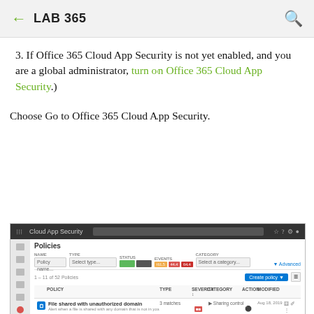LAB 365
3. If Office 365 Cloud App Security is not yet enabled, and you are a global administrator, turn on Office 365 Cloud App Security.)
Choose Go to Office 365 Cloud App Security.
[Figure (screenshot): Screenshot of the Cloud App Security Policies page in Microsoft Office 365, showing a dark top navigation bar with the 'Cloud App Security' title and search bar, a left sidebar with navigation icons, and the main Policies list with filter controls (NAME, TYPE, STATUS, EVENTS, CATEGORY), a 'Create policy' button, and three policy rows: 'File shared with unauthorized domain', 'unusual file share activity (by size)', and 'unusual file download (by user)', each with severity indicators, category labels, dates, and action icons.]